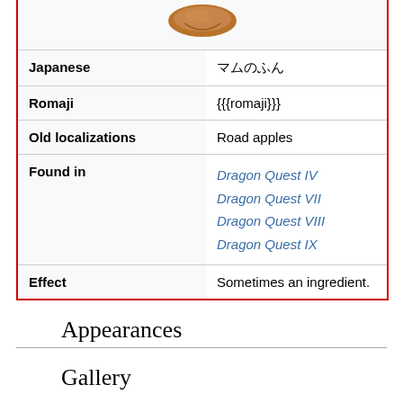[Figure (photo): Small brown round object (road apple item sprite) shown at top of infobox]
| Field | Value |
| --- | --- |
| Japanese | マムのふん |
| Romaji | {{{romaji}}} |
| Old localizations | Road apples |
| Found in | Dragon Quest IV
Dragon Quest VII
Dragon Quest VIII
Dragon Quest IX |
| Effect | Sometimes an ingredient. |
Appearances
Gallery